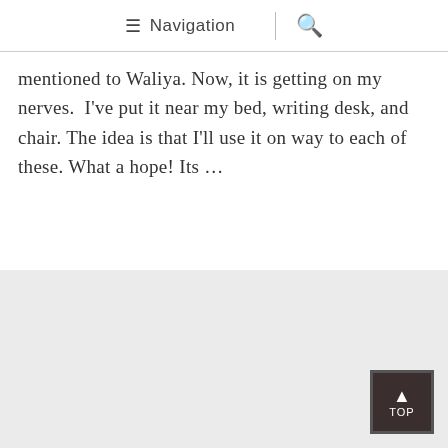≡ Navigation | 🔍
mentioned to Waliya. Now, it is getting on my nerves.  I've put it near my bed, writing desk, and chair. The idea is that I'll use it on way to each of these. What a hope! Its …
[Figure (other): Gray advertisement or content placeholder box with a 'TOP' back-to-top button in the bottom-right corner]